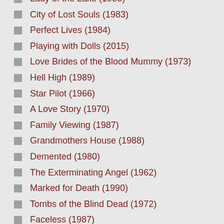Lady of the Lake (1998)
City of Lost Souls (1983)
Perfect Lives (1984)
Playing with Dolls (2015)
Love Brides of the Blood Mummy (1973)
Hell High (1989)
Star Pilot (1966)
A Love Story (1970)
Family Viewing (1987)
Grandmothers House (1988)
Demented (1980)
The Exterminating Angel (1962)
Marked for Death (1990)
Tombs of the Blind Dead (1972)
Faceless (1987)